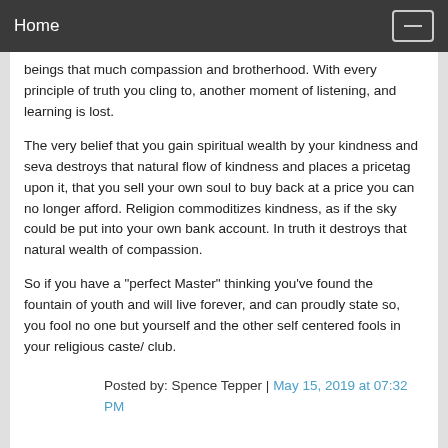Home
beings that much compassion and brotherhood. With every principle of truth you cling to, another moment of listening, and learning is lost.
The very belief that you gain spiritual wealth by your kindness and seva destroys that natural flow of kindness and places a pricetag upon it, that you sell your own soul to buy back at a price you can no longer afford. Religion commoditizes kindness, as if the sky could be put into your own bank account. In truth it destroys that natural wealth of compassion.
So if you have a "perfect Master" thinking you've found the fountain of youth and will live forever, and can proudly state so, you fool no one but yourself and the other self centered fools in your religious caste/ club.
Posted by: Spence Tepper | May 15, 2019 at 07:32 PM